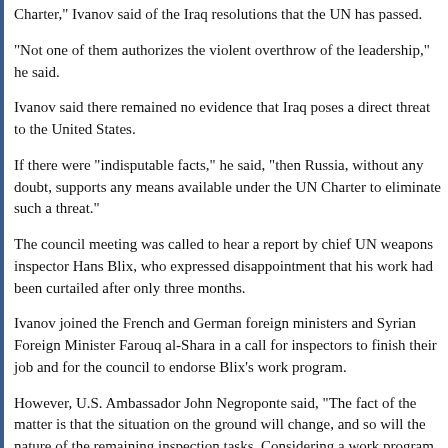Charter," Ivanov said of the Iraq resolutions that the UN has passed.
"Not one of them authorizes the violent overthrow of the leadership," he said.
Ivanov said there remained no evidence that Iraq poses a direct threat to the United States.
If there were "indisputable facts," he said, "then Russia, without any doubt, supports any means available under the UN Charter to eliminate such a threat."
The council meeting was called to hear a report by chief UN weapons inspector Hans Blix, who expressed disappointment that his work had been curtailed after only three months.
Ivanov joined the French and German foreign ministers and Syrian Foreign Minister Farouq al-Shara in a call for inspectors to finish their job and for the council to endorse Blix's work program.
However, U.S. Ambassador John Negroponte said, "The fact of the matter is that the situation on the ground will change, and so will the nature of the remaining inspection tasks. Considering a work program at this time is quite simply out of step with the reality that we confront."
Earlier Wednesday, State Duma deputies fired a volley of verbal shots at Washington and one lawmaker went as far as to call Bush a terrorist.